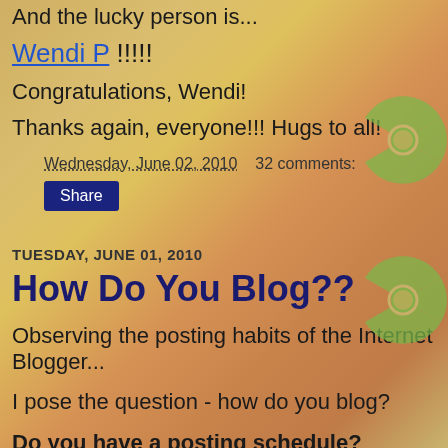And the lucky person is...
Wendi P !!!!!
Congratulations, Wendi!
Thanks again, everyone!!! Hugs to all!
Wednesday, June 02, 2010   32 comments:
Share
TUESDAY, JUNE 01, 2010
How Do You Blog??
Observing the posting habits of the Internet Blogger...
I pose the question - how do you blog?
Do you have a posting schedule? Schedule posts to automatically post at a given time? Fly by the seat of your pants?